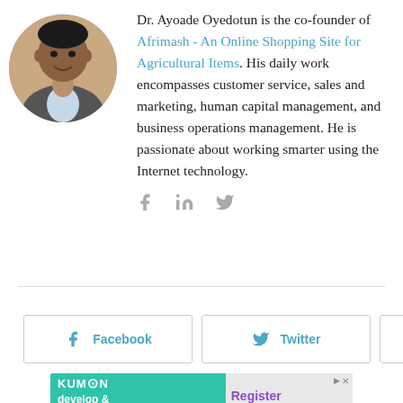[Figure (photo): Circular headshot photo of Dr. Ayoade Oyedotun, a man in a suit jacket]
Dr. Ayoade Oyedotun is the co-founder of Afrimash - An Online Shopping Site for Agricultural Items. His daily work encompasses customer service, sales and marketing, human capital management, and business operations management. He is passionate about working smarter using the Internet technology.
[Figure (infographic): Social share icons: Facebook (f), LinkedIn (in), Twitter (bird)]
[Figure (infographic): Share buttons row: Facebook button, Twitter button, plus button]
[Figure (infographic): Kumon advertisement banner: develop & build critical reading skills, Register Today]